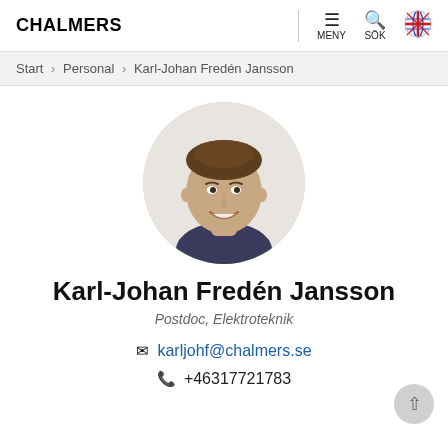CHALMERS | MENY | SÖK
Start > Personal > Karl-Johan Fredén Jansson
[Figure (photo): Circular profile photo of Karl-Johan Fredén Jansson, a young man with short brown hair smiling, wearing a dark shirt]
Karl-Johan Fredén Jansson
Postdoc, Elektroteknik
karljohf@chalmers.se
+46317721783